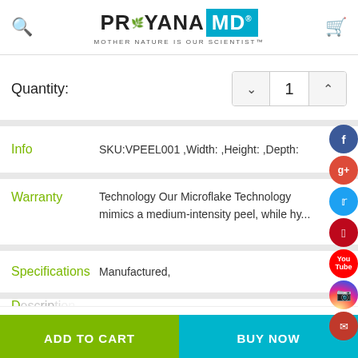Priyanamd — MOTHER NATURE IS OUR SCIENTIST™
Quantity: 1
Info   SKU:VPEEL001 ,Width: ,Height: ,Depth:
Warranty   Technology Our Microflake Technology mimics a medium-intensity peel, while hy...
Specifications   Manufactured,
ADD TO CART
BUY NOW
Home   Categories   Account   Contact   More